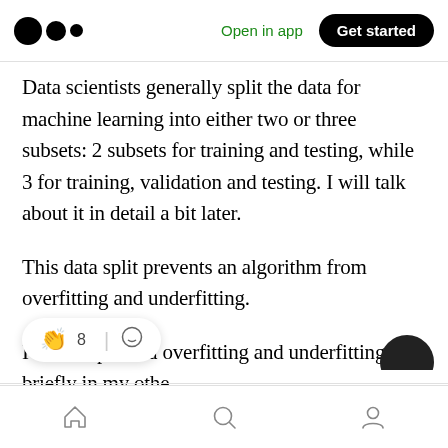Open in app | Get started
Data scientists generally split the data for machine learning into either two or three subsets: 2 subsets for training and testing, while 3 for training, validation and testing. I will talk about it in detail a bit later.
This data split prevents an algorithm from overfitting and underfitting.
I have explained overfitting and underfitting briefly in my othe
Home | Search | Profile